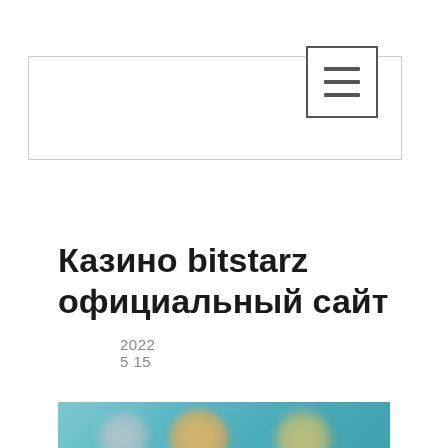2022 5 15
Казино bitstarz официальный сайт
Казино bitstarz официальный сайт
[Figure (photo): Blurred casino-related image with figures on teal/blue background]